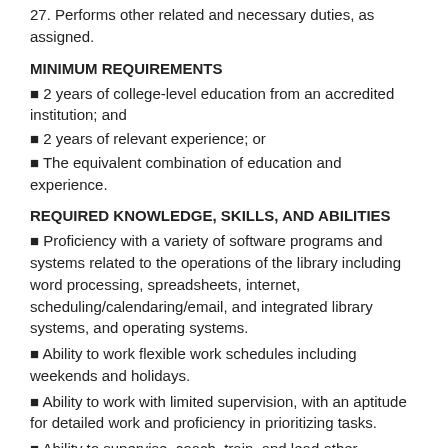27. Performs other related and necessary duties, as assigned.
MINIMUM REQUIREMENTS
▪ 2 years of college-level education from an accredited institution; and
▪ 2 years of relevant experience; or
▪ The equivalent combination of education and experience.
REQUIRED KNOWLEDGE, SKILLS, AND ABILITIES
▪ Proficiency with a variety of software programs and systems related to the operations of the library including word processing, spreadsheets, internet, scheduling/calendaring/email, and integrated library systems, and operating systems.
▪ Ability to work flexible work schedules including weekends and holidays.
▪ Ability to work with limited supervision, with an aptitude for detailed work and proficiency in prioritizing tasks.
▪ Ability to supervise, coach, train, and lead other workers.
▪ Proficiency in applying good customer service skills.
REPORTING RELATIONSHIPS